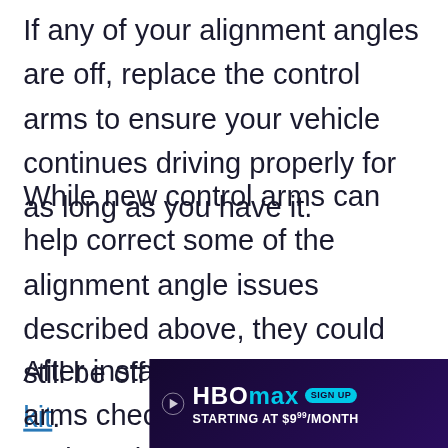If any of your alignment angles are off, replace the control arms to ensure your vehicle continues driving properly for as long as you have it.
While new control arms can help correct some of the alignment angle issues described above, they could still be off depending on the lift kit.
After installing the new control arms check the pinion, caster, and camber angles again. If any of these angles are off from the factory settings, you may need to adjust them two,
[Figure (other): HBO Max advertisement banner — 'SIGN UP STARTING AT $9.99/MONTH' with play and close buttons]